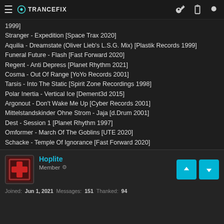TRANCEFIX
1999]
Stranger - Expedition [Space Trax 2020]
Aquilia - Dreamstate (Oliver Lieb's L.S.G. Mix) [Plastik Records 1999]
Funeral Future - Flash [Fast Forward 2020]
Regent - Anti Depress [Planet Rhythm 2021]
Cosma - Out Of Range [YoYo Records 2001]
Tarsis - Into The Static [Spirit Zone Recordings 1998]
Polar Inertia - Vertical Ice [Dement3d 2015]
Argonout - Don't Wake Me Up [Cyber Records 2001]
Mittelstandskinder Ohne Strom - Jaja [d.Drum 2001]
Dest - Session 1 [Planet Rhythm 1997]
Omformer - March Of The Goblins [UTE 2020]
Schacke - Temple Of Ignorance [Fast Forward 2020]
X-Dream - Irritant [d.Drum 2002]
Oforia - Cream [Dragonfly Records 1998]
👍 TRANCEBLASTER
Hoplite
Member
Joined: Jun 1, 2021  Messages: 151  Thanked: 94